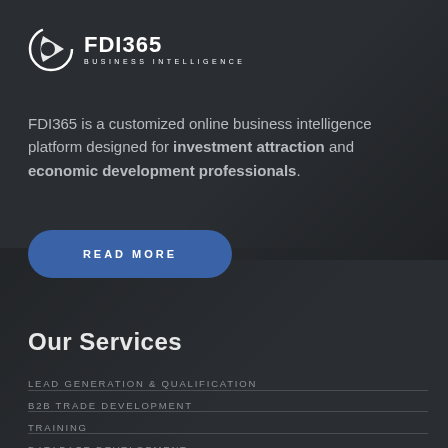[Figure (logo): FDI365 Business Intelligence logo — circular globe/arrow icon in white on dark background, with bold text FDI365 and subtitle BUSINESS INTELLIGENCE]
FDI365 is a customized online business intelligence platform designed for investment attraction and economic development professionals.
READ MORE
Our Services
LEAD GENERATION & QUALIFICATION
B2B TRADE DEVELOPMENT
TRAINING
DATABASE DEVELOPMENT